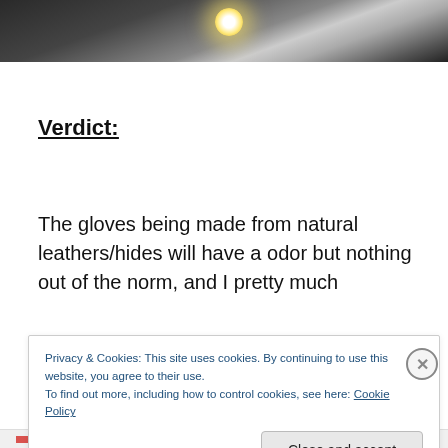[Figure (photo): Partial photo of an object with a glowing light orb/bulb against a dark background, cropped at the top of the page.]
Verdict:
The gloves being made from natural leathers/hides will have a odor but nothing out of the norm, and I pretty much
Privacy & Cookies: This site uses cookies. By continuing to use this website, you agree to their use.
To find out more, including how to control cookies, see here: Cookie Policy
Close and accept